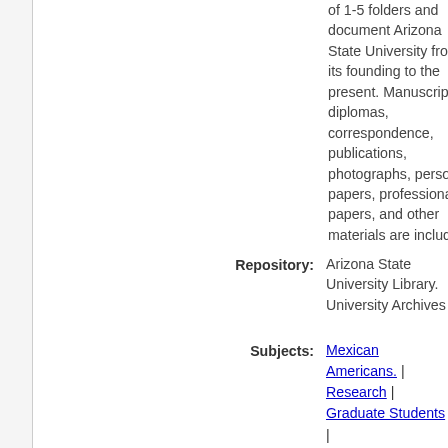of 1-5 folders and document Arizona State University from its founding to the present. Manuscripts, diplomas, correspondence, publications, photographs, personal papers, professional papers, and other materials are included.
Repository: Arizona State University Library. University Archives
Subjects: Mexican Americans. | Research | Graduate Students | Undergraduates | Student Housing | Dormitories | Lobbying | Greek